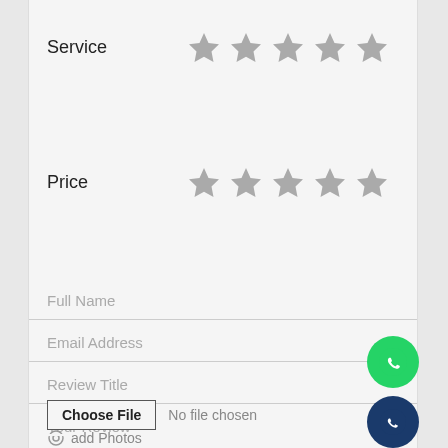Service
[Figure (other): Five grey stars rating row for Service]
Price
[Figure (other): Five grey stars rating row for Price]
Full Name
Email Address
Review Title
Your Review
Choose File  No file chosen
Add Photos